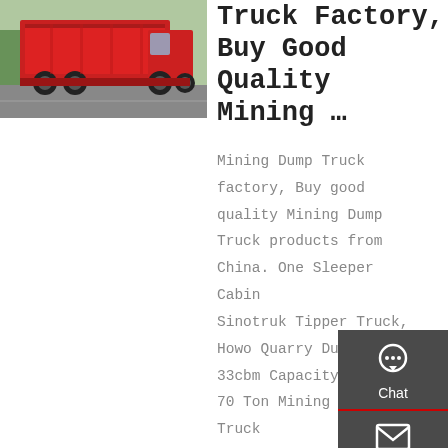[Figure (photo): Red dump/tipper truck photographed from the side-rear angle, parked on a road with trees in background.]
Truck Factory, Buy Good Quality Mining …
Mining Dump Truck factory, Buy good quality Mining Dump Truck products from China. One Sleeper Cabin Sinotruk Tipper Truck, Howo Quarry Dump Truck 33cbm Capacity. 336 H 70 Ton Mining Dump Truck With ZF8198 Steering Power Steering High Speed. SINOTRUK wide body 8X4 371hp HOWO …
[Figure (infographic): Dark sidebar widget with Chat, Email, Contact, and Top navigation icons on a dark grey background.]